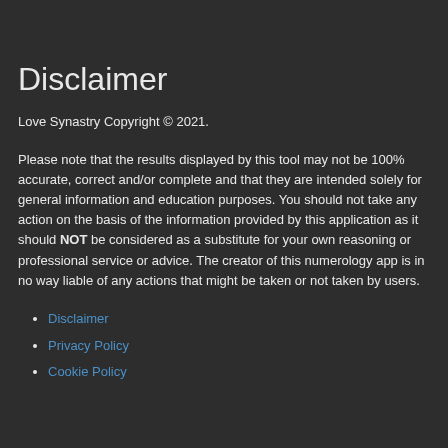Disclaimer
Love Synastry Copyright © 2021.
Please note that the results displayed by this tool may not be 100% accurate, correct and/or complete and that they are intended solely for general information and education purposes. You should not take any action on the basis of the information provided by this application as it should NOT be considered as a substitute for your own reasoning or professional service or advice. The creator of this numerology app is in no way liable of any actions that might be taken or not taken by users.
Disclaimer
Privacy Policy
Cookie Policy